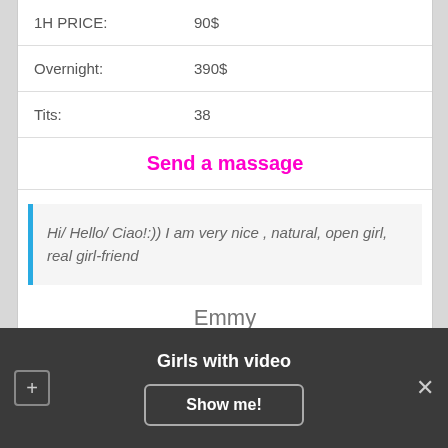| 1H PRICE: | 90$ |
| Overnight: | 390$ |
| Tits: | 38 |
Send a massage
Hi/ Hello/ Ciao!:)) I am very nice , natural, open girl, real girl-friend
Emmy
[Figure (photo): Photo of a woman]
Girls with video
Show me!